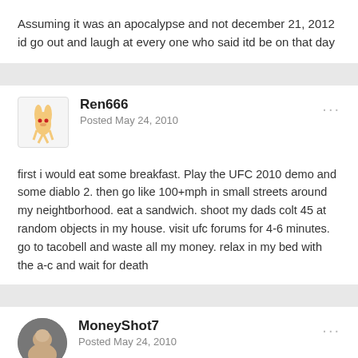Assuming it was an apocalypse and not december 21, 2012 id go out and laugh at every one who said itd be on that day
Ren666
Posted May 24, 2010
first i would eat some breakfast. Play the UFC 2010 demo and some diablo 2. then go like 100+mph in small streets around my neightborhood. eat a sandwich. shoot my dads colt 45 at random objects in my house. visit ufc forums for 4-6 minutes. go to tacobell and waste all my money. relax in my bed with the a-c and wait for death
MoneyShot7
Posted May 24, 2010
Quote